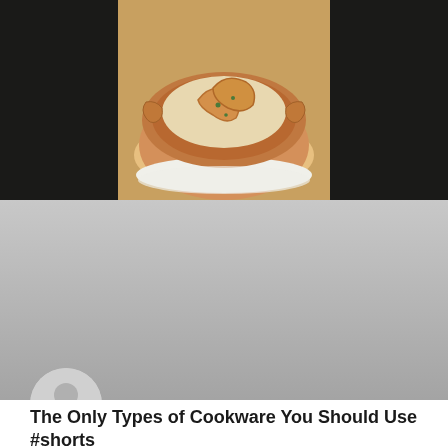[Figure (photo): Composite photo with dark panels on left and right, and a ceramic dish with food (shrimp/pasta) in center on orange/amber background]
[Figure (photo): Gray video thumbnail placeholder with circular user avatar icon overlaid at bottom left]
The Only Types of Cookware You Should Use #shorts
In this video you will show you the perfect pan to use